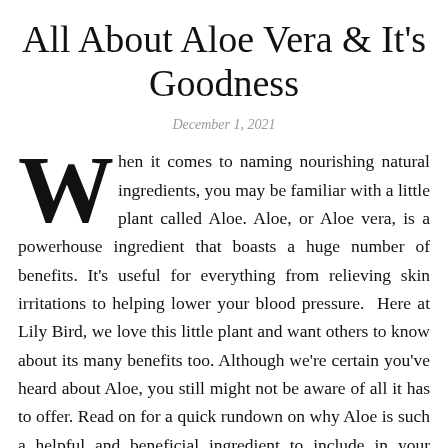All About Aloe Vera & It's Goodness
December 1, 2021
When it comes to naming nourishing natural ingredients, you may be familiar with a little plant called Aloe. Aloe, or Aloe vera, is a powerhouse ingredient that boasts a huge number of benefits. It's useful for everything from relieving skin irritations to helping lower your blood pressure. Here at Lily Bird, we love this little plant and want others to know about its many benefits too. Although we're certain you've heard about Aloe, you still might not be aware of all it has to offer. Read on for a quick rundown on why Aloe is such a helpful and beneficial ingredient to include in your routine.